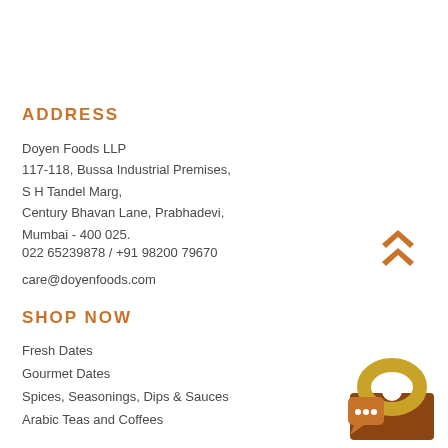ADDRESS
Doyen Foods LLP
117-118, Bussa Industrial Premises,
S H Tandel Marg,
Century Bhavan Lane, Prabhadevi,
Mumbai - 400 025.
022 65239878 / +91 98200 79670
care@doyenfoods.com
SHOP NOW
Fresh Dates
Gourmet Dates
Spices, Seasonings, Dips & Sauces
Arabic Teas and Coffees
[Figure (illustration): Orange double-chevron up arrow scroll-to-top button]
[Figure (illustration): Orange/gold shopping cart with chat bubble overlay icon]